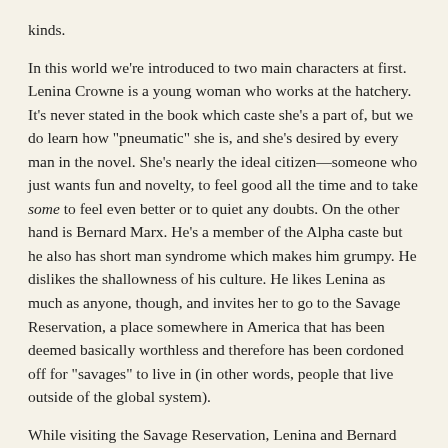kinds.
In this world we're introduced to two main characters at first. Lenina Crowne is a young woman who works at the hatchery. It's never stated in the book which caste she's a part of, but we do learn how "pneumatic" she is, and she's desired by every man in the novel. She's nearly the ideal citizen—someone who just wants fun and novelty, to feel good all the time and to take some to feel even better or to quiet any doubts. On the other hand is Bernard Marx. He's a member of the Alpha caste but he also has short man syndrome which makes him grumpy. He dislikes the shallowness of his culture. He likes Lenina as much as anyone, though, and invites her to go to the Savage Reservation, a place somewhere in America that has been deemed basically worthless and therefore has been cordoned off for "savages" to live in (in other words, people that live outside of the global system).
While visiting the Savage Reservation, Lenina and Bernard stumble upon the existence of a man named John and his mother Linda. Linda was formerly one of them, and became lost while visiting the reservation. Prior to that at some point, she had also become pregnant, something which shouldn't have been possible if